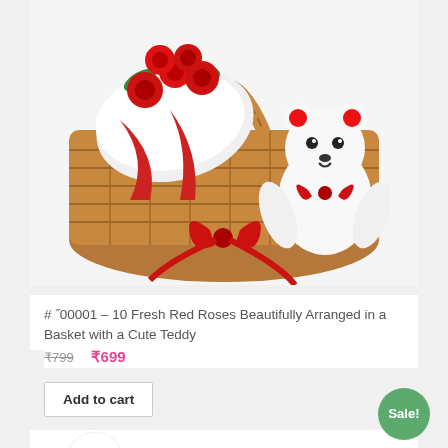[Figure (photo): A wicker basket filled with 10 fresh red roses wrapped in white and red paper, with a cute white teddy bear with a red bow and red ears, and a large red ribbon bow on the basket.]
# ˝00001 – 10 Fresh Red Roses Beautifully Arranged in a Basket with a Cute Teddy
₹799  ₹699
Add to cart
[Figure (photo): Bottom portion of a second product card showing a logo with a rainbow and the letters JK, and red roses partially visible. A green Sale! badge is visible in the bottom right.]